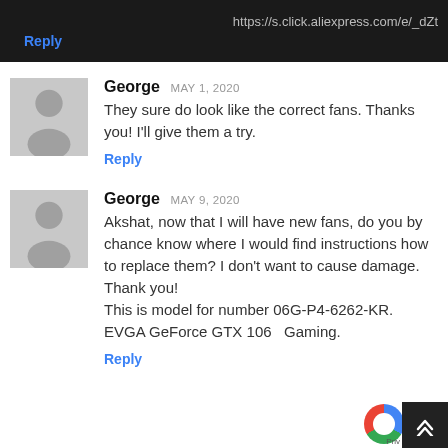https://s.click.aliexpress.com/e/_dZt
Reply
George MAY 1, 2020
They sure do look like the correct fans. Thanks you! I'll give them a try.
Reply
George MAY 9, 2020
Akshat, now that I will have new fans, do you by chance know where I would find instructions how to replace them? I don't want to cause damage. Thank you!
This is model for number 06G-P4-6262-KR. EVGA GeForce GTX 1060 Gaming.
Reply